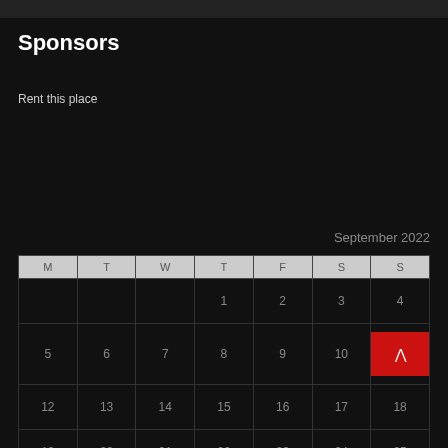Sponsors
Rent this place
September 2022
| M | T | W | T | F | S | S |
| --- | --- | --- | --- | --- | --- | --- |
|  |  |  | 1 | 2 | 3 | 4 |
| 5 | 6 | 7 | 8 | 9 | 10 | 11 |
| 12 | 13 | 14 | 15 | 16 | 17 | 18 |
| 19 | 20 | 21 | 22 | 23 | 24 | 25 |